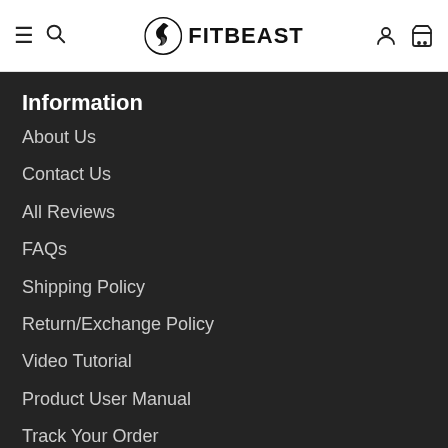FITBEAST
Information
About Us
Contact Us
All Reviews
FAQs
Shipping Policy
Return/Exchange Policy
Video Tutorial
Product User Manual
Track Your Order
Terms of Service